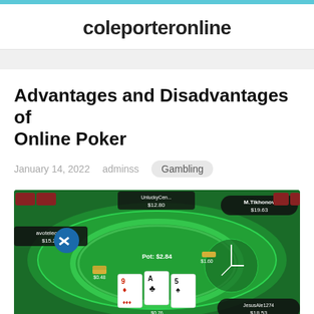coleporteronline
Advantages and Disadvantages of Online Poker
January 14, 2022   adminss   Gambling
[Figure (screenshot): Screenshot of an online poker game interface showing a green felt table with playing cards (9 of diamonds, Ace of clubs, 5 of spades), poker chips, and player labels including M.Tikhonov $19.63, avotelecom $15.20, JesusAle1274 $18.53, with pot $2.84 and other player balances visible]